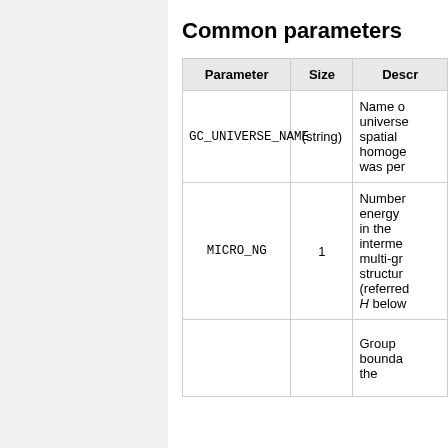Common parameters
| Parameter | Size | Description |
| --- | --- | --- |
| GC_UNIVERSE_NAME | (string) | Name of universe spatial homoge... was per... |
| MICRO_NG | 1 | Number of energy ... in the interme... multi-gr... structur... (referred H below... |
|  |  | Group bounda... the |